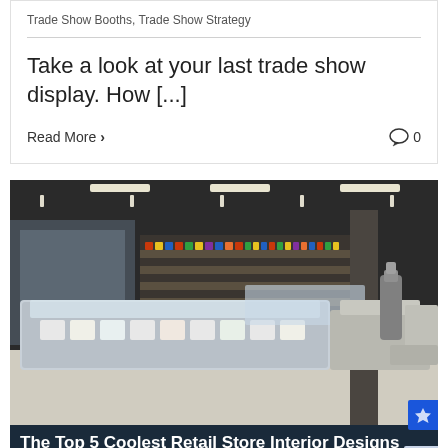Trade Show Booths, Trade Show Strategy
Take a look at your last trade show display. How [...]
Read More >  0
[Figure (photo): Interior of a modern retail supermarket showing refrigerated display cases in the foreground and product shelves in the background with ceiling lights.]
The Top 5 Coolest Retail Store Interior Designs